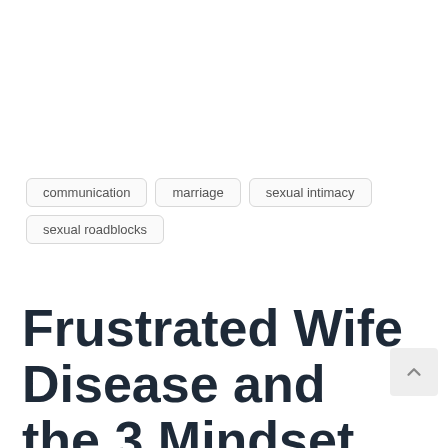communication
marriage
sexual intimacy
sexual roadblocks
Frustrated Wife Disease and the 3 Mindset Shifts You Need to Overcome it